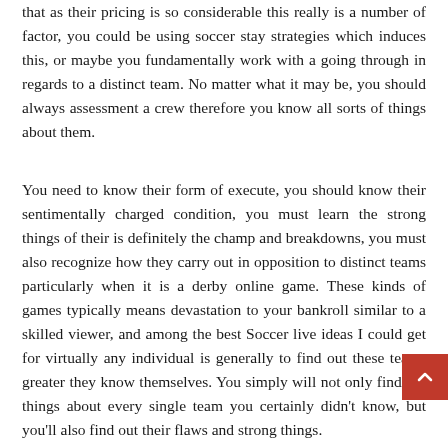that as their pricing is so considerable this really is a number of factor, you could be using soccer stay strategies which induces this, or maybe you fundamentally work with a going through in regards to a distinct team. No matter what it may be, you should always assessment a crew therefore you know all sorts of things about them.
You need to know their form of execute, you should know their sentimentally charged condition, you must learn the strong things of their is definitely the champ and breakdowns, you must also recognize how they carry out in opposition to distinct teams particularly when it is a derby online game. These kinds of games typically means devastation to your bankroll similar to a skilled viewer, and among the best Soccer live ideas I could get for virtually any individual is generally to find out these teams greater they know themselves. You simply will not only find out things about every single team you certainly didn't know, but you'll also find out their flaws and strong things.